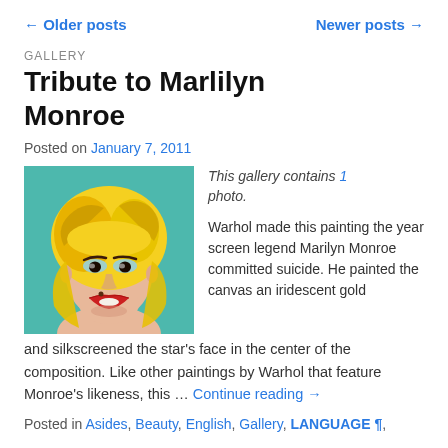← Older posts    Newer posts →
GALLERY
Tribute to Marlilyn Monroe
Posted on January 7, 2011
[Figure (photo): Andy Warhol style portrait of Marilyn Monroe with yellow/gold hair on teal background]
This gallery contains 1 photo.
Warhol made this painting the year screen legend Marilyn Monroe committed suicide. He painted the canvas an iridescent gold and silkscreened the star's face in the center of the composition. Like other paintings by Warhol that feature Monroe's likeness, this … Continue reading →
Posted in Asides, Beauty, English, Gallery, LANGUAGE ¶,